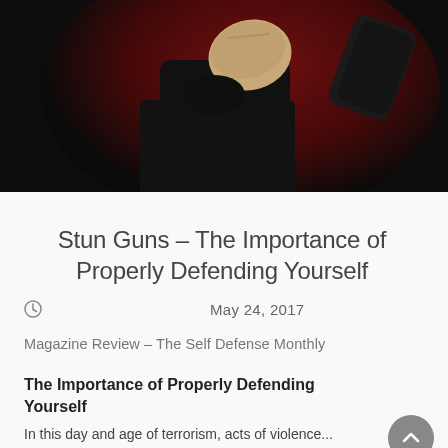[Figure (photo): A person dressed in black striking a fighting pose against a dark red/black background, showing a fist extended toward the viewer and another arm raised.]
Stun Guns – The Importance of Properly Defending Yourself
May 24, 2017
Magazine Review – The Self Defense Monthly
The Importance of Properly Defending Yourself
In this day and age of terrorism, acts of violence...